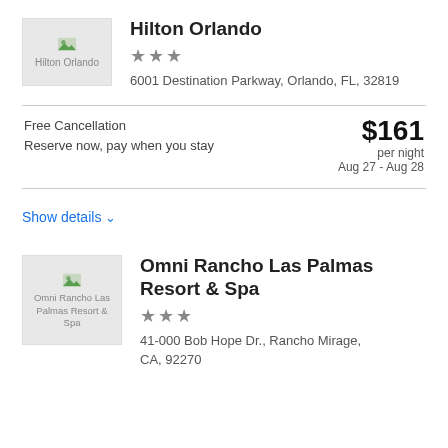[Figure (photo): Hilton Orlando hotel thumbnail image placeholder]
Hilton Orlando
★★★
6001 Destination Parkway, Orlando, FL, 32819
Free Cancellation
Reserve now, pay when you stay
$161 per night
Aug 27 - Aug 28
Show details
[Figure (photo): Omni Rancho Las Palmas Resort & Spa hotel thumbnail image placeholder]
Omni Rancho Las Palmas Resort & Spa
★★★
41-000 Bob Hope Dr., Rancho Mirage, CA, 92270